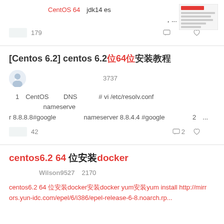CentOS 64　jdk14 es　　　　　　　　　　　　　　　　　　　　　　　　　　　　，...
179
[Centos 6.2] centos 6.2位64位安装教程
3737
1　CentOS 　　DNS　　　 # vi /etc/resolv.conf 　　　　　 nameserver 8.8.8.8#google　　　　 nameserver 8.8.4.4 #google　　　　 2　...
42 　　　2
centos6.2 64 位安装docker
Wilson9527   2170
centos6.2 64 位安装docker安装docker yum安装yum install http://mirrors.yun-idc.com/epel/6/i386/epel-release-6-8.noarch.rp...